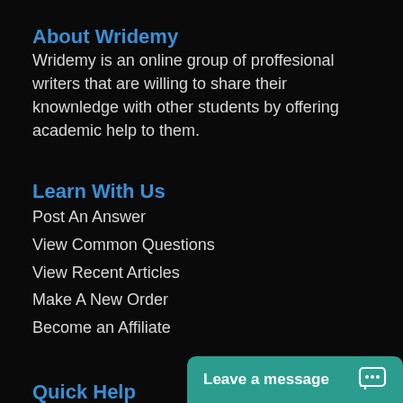About Wridemy
Wridemy is an online group of proffesional writers that are willing to share their knownledge with other students by offering academic help to them.
Learn With Us
Post An Answer
View Common Questions
View Recent Articles
Make A New Order
Become an Affiliate
Quick Help
Register A Student Ac
Leave a message